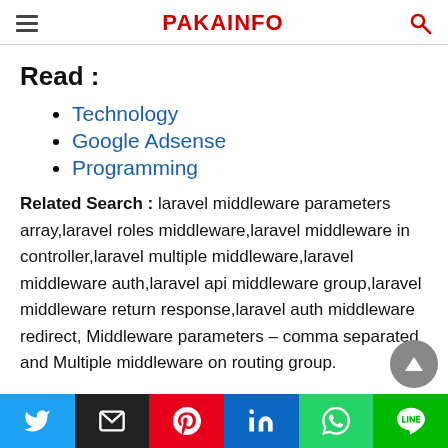PAKAINFO
Read :
Technology
Google Adsense
Programming
Related Search : laravel middleware parameters array,laravel roles middleware,laravel middleware in controller,laravel multiple middleware,laravel middleware auth,laravel api middleware group,laravel middleware return response,laravel auth middleware redirect, Middleware parameters – comma separated and Multiple middleware on routing group.